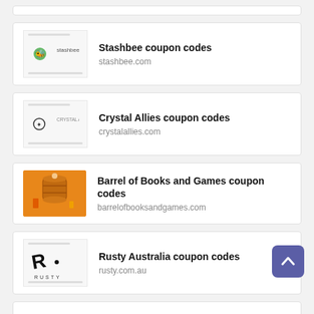Stashbee coupon codes
stashbee.com
Crystal Allies coupon codes
crytalallies.com
Barrel of Books and Games coupon codes
barrelofbooksandgames.com
Rusty Australia coupon codes
rusty.com.au